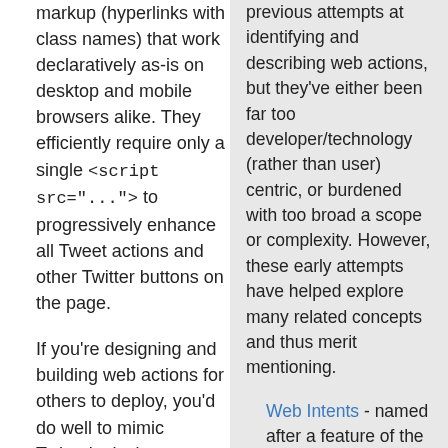markup (hyperlinks with class names) that work declaratively as-is on desktop and mobile browsers alike. They efficiently require only a single <script src="..."> to progressively enhance all Tweet actions and other Twitter buttons on the page.
If you're designing and building web actions for others to deploy, you'd do well to mimic Twitter's design. Twitter's documentation is also quite good with one minor-nit:
previous attempts at identifying and describing web actions, but they've either been far too developer/technology (rather than user) centric, or burdened with too broad a scope or complexity. However, these early attempts have helped explore many related concepts and thus merit mentioning.
Web Intents - named after a feature of the Android platform (Android Intents) that